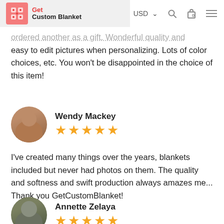Get Custom Blanket | USD | Search | Cart | Menu
ordered another as a gift. Wonderful quality and easy to edit pictures when personalizing. Lots of color choices, etc. You won't be disappointed in the choice of this item!
Wendy Mackey ★★★★★
I've created many things over the years, blankets included but never had photos on them. The quality and softness and swift production always amazes me... Thank you GetCustomBlanket!
Annette Zelaya ★★★★★